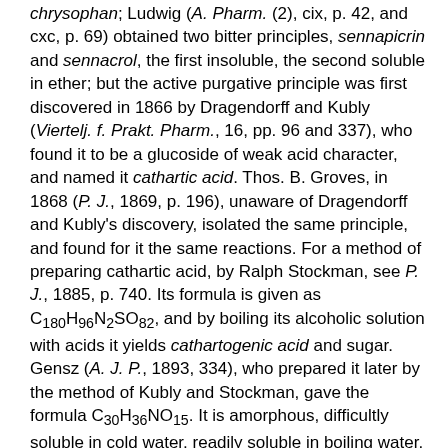chrysophan; Ludwig (A. Pharm. (2), cix, p. 42, and cxc, p. 69) obtained two bitter principles, sennapicrin and sennacrol, the first insoluble, the second soluble in ether; but the active purgative principle was first discovered in 1866 by Dragendorff and Kubly (Viertelj. f. Prakt. Pharm., 16, pp. 96 and 337), who found it to be a glucoside of weak acid character, and named it cathartic acid. Thos. B. Groves, in 1868 (P. J., 1869, p. 196), unaware of Dragendorff and Kubly's discovery, isolated the same principle, and found for it the same reactions. For a method of preparing cathartic acid, by Ralph Stockman, see P. J., 1885, p. 740. Its formula is given as C180H96N2SO82, and by boiling its alcoholic solution with acids it yields cathartogenic acid and sugar. Gensz (A. J. P., 1893, 334), who prepared it later by the method of Kubly and Stockman, gave the formula C30H36NO15. It is amorphous, difficultly soluble in cold water, readily soluble in boiling water. The best solvent is a 30 to 40 per cent. alcohol; ether, benzene, chloroform, and petroleum ether are without solvent action. Alkalies with heat decompose it. It is prepared by partially precipitating with alcohol infusion of senna, concentrating to a syrupy consistence in vacua, filtering, treating the filtrate with a large proportion of absolute alcohol, and repeatedly dissolving in water, and precipitating by alcohol the precipitate thus obtained. It